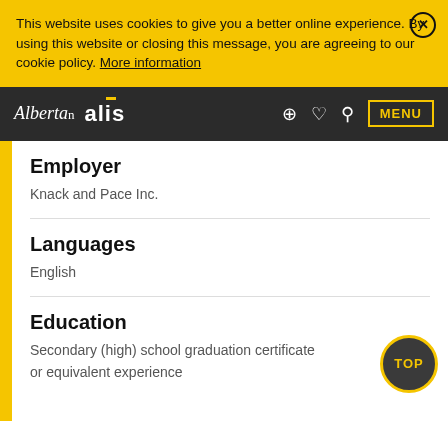This website uses cookies to give you a better online experience. By using this website or closing this message, you are agreeing to our cookie policy. More information
Alberta alis — MENU
Employer
Knack and Pace Inc.
Languages
English
Education
Secondary (high) school graduation certificate
or equivalent experience